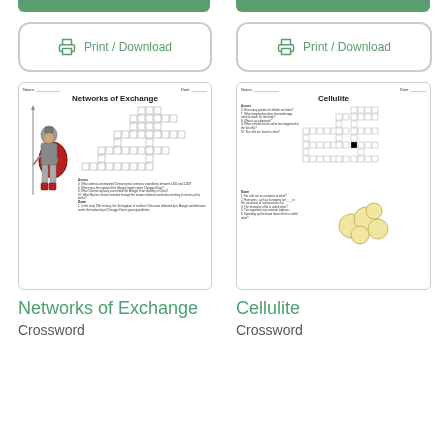[Figure (screenshot): Green top bar left]
[Figure (screenshot): Green top bar right]
[Figure (screenshot): Print / Download button left with printer icon]
[Figure (screenshot): Print / Download button right with printer icon]
[Figure (screenshot): Thumbnail of Networks of Exchange crossword worksheet showing a medieval warrior figure and crossword grid with clues]
[Figure (screenshot): Thumbnail of Cellulite crossword worksheet showing crossword grid and fat cells illustration with clues]
Networks of Exchange
Crossword
Cellulite
Crossword